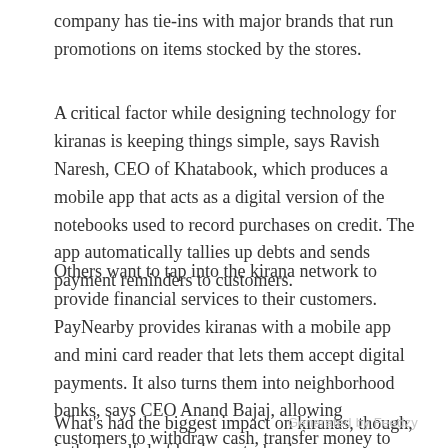company has tie-ins with major brands that run promotions on items stocked by the stores.
A critical factor while designing technology for kiranas is keeping things simple, says Ravish Naresh, CEO of Khatabook, which produces a mobile app that acts as a digital version of the notebooks used to record purchases on credit. The app automatically tallies up debts and sends payment reminders to customers.
Others want to tap into the kirana network to provide financial services to their customers. PayNearby provides kiranas with a mobile app and mini card reader that lets them accept digital payments. It also turns them into neighborhood banks, says CEO Anand Bajaj, allowing customers to withdraw cash, transfer money to relatives, take out insurance, and even book travel tickets for a small commission.
What's had the biggest impact on kiranas, though, is the handful of business-to-business e-commerce apps providing shops with a